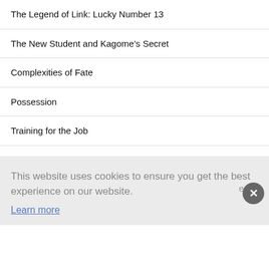The Legend of Link: Lucky Number 13
The New Student and Kagome's Secret
Complexities of Fate
Possession
Training for the Job
Diplomatic Relations
This website uses cookies to ensure you get the best experience on our website.
Learn more
er 4